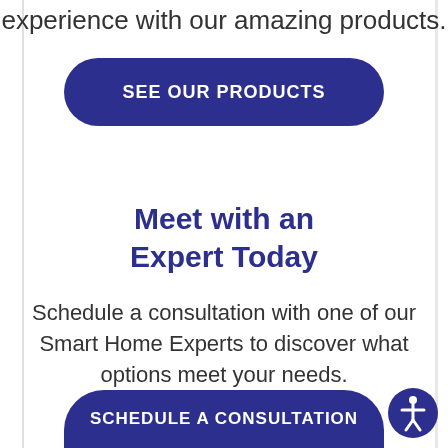experience with our amazing products.
[Figure (other): Blue rounded button labeled SEE OUR PRODUCTS]
Meet with an Expert Today
Schedule a consultation with one of our Smart Home Experts to discover what options meet your needs.
[Figure (other): Blue rounded button labeled SCHEDULE A CONSULTATION]
[Figure (other): Accessibility icon button - blue circle with person figure]